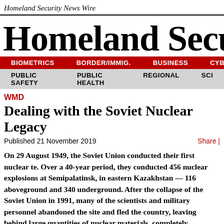Homeland Security News Wire
Homeland Security News W
BIOMETRICS  BORDER/IMMIG.  BUSINESS  CYBERSEC
PUBLIC SAFETY  PUBLIC HEALTH  REGIONAL  SCI
WMD
Dealing with the Soviet Nuclear Legacy
Published 21 November 2019
Share |
On 29 August 1949, the Soviet Union conducted their first nuclear te. Over a 40-year period, they conducted 456 nuclear explosions at Semipalatinsk, in eastern Kazakhstan — 116 aboveground and 340 underground. After the collapse of the Soviet Union in 1991, many of the scientists and military personnel abandoned the site and fled the country, leaving behind large quantities of nuclear materials, completely unsecured. The Defense Threat Reduction Agency (DTRA has been quietly helping Kazakhstan deal with the Soviet